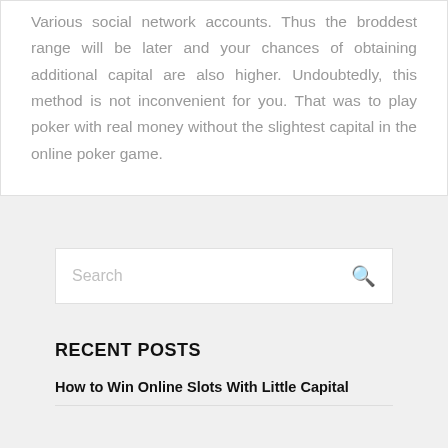Various social network accounts. Thus the broddest range will be later and your chances of obtaining additional capital are also higher. Undoubtedly, this method is not inconvenient for you. That was to play poker with real money without the slightest capital in the online poker game.
Search
RECENT POSTS
How to Win Online Slots With Little Capital